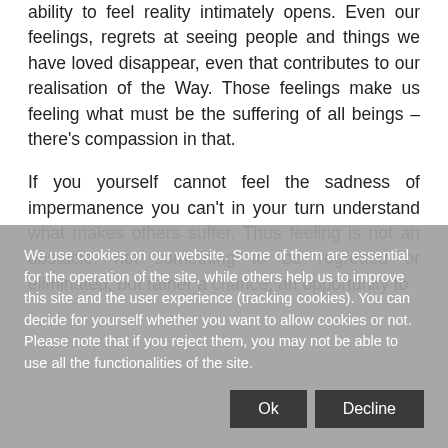ability to feel reality intimately opens. Even our feelings, regrets at seeing people and things we have loved disappear, even that contributes to our realisation of the Way. Those feelings make us feeling what must be the suffering of all beings – there's compassion in that.

If you yourself cannot feel the sadness of impermanence you can't in your turn understand what makes others suffer. Thus feeling is not an obstacle, not something to be regretted or eliminated, but rather a chance, an opportunity to
We use cookies on our website. Some of them are essential for the operation of the site, while others help us to improve this site and the user experience (tracking cookies). You can decide for yourself whether you want to allow cookies or not. Please note that if you reject them, you may not be able to use all the functionalities of the site.